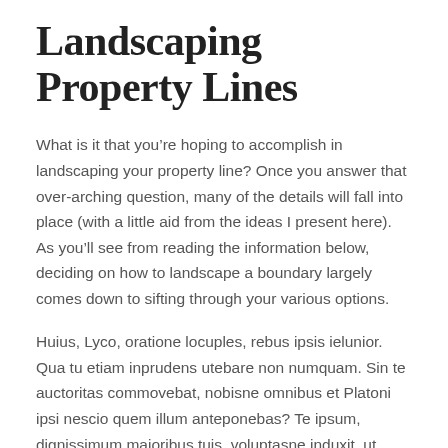Landscaping Property Lines
What is it that you’re hoping to accomplish in landscaping your property line? Once you answer that over-arching question, many of the details will fall into place (with a little aid from the ideas I present here). As you’ll see from reading the information below, deciding on how to landscape a boundary largely comes down to sifting through your various options.
Huius, Lyco, oratione locuples, rebus ipsis ielunior. Qua tu etiam inprudens utebare non numquam. Sin te auctoritas commovebat, nobisne omnibus et Platoni ipsi nescio quem illum anteponebas? Te ipsum, dignissimum maioribus tuis, voluptasne induxit, ut adolescentulus eriperes P. Quid turpius quam sapientis vitam ex insipientium sermone pendere? Non igitur de improbo, sed de callido improbo quaerimus, qualis Q.